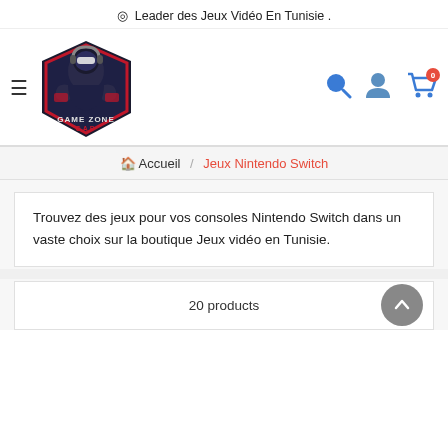⊙ Leader des Jeux Vidéo En Tunisie .
[Figure (logo): Game Zone Cap gaming store logo — masked gaming character holding controllers, with red and dark blue shield shape, text 'GAME ZONE CAP' at bottom]
Accueil / Jeux Nintendo Switch
Trouvez des jeux pour vos consoles Nintendo Switch dans un vaste choix sur la boutique Jeux vidéo en Tunisie.
20 products